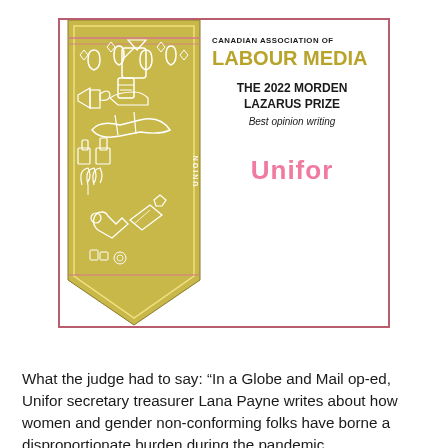[Figure (illustration): Canadian Association of Labour Media award certificate card. Left side features a gold/olive colored pennant-shaped badge with white line art illustrations of labour-themed icons (raised fist, scales of justice, water drops, tools, books, plants, machinery). Right side shows award text. The card has a dark pink/mauve border.]
What the judge had to say: “In a Globe and Mail op-ed, Unifor secretary treasurer Lana Payne writes about how women and gender non-conforming folks have borne a disproportionate burden during the pandemic.